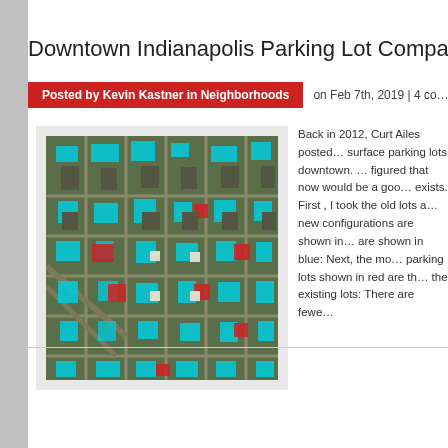Downtown Indianapolis Parking Lot Compa…
Posted by Kevin Kastner in Neighborhoods
on Feb 7th, 2019 | 4 co…
[Figure (map): Aerial/satellite map of downtown Indianapolis showing surface parking lots highlighted in cyan/blue and red overlays indicating parking lot changes between 2012 and 2019.]
Back in 2012, Curt Ailes posted… surface parking lots downtown. … figured that now would be a goo… exists. First , I took the old lots a… new configurations are shown in… are shown in blue: Next, the mo… parking lots shown in red are th… the existing lots: There are fewe…